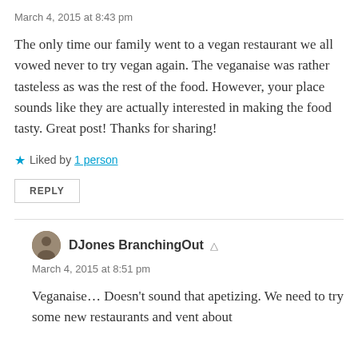March 4, 2015 at 8:43 pm
The only time our family went to a vegan restaurant we all vowed never to try vegan again. The veganaise was rather tasteless as was the rest of the food. However, your place sounds like they are actually interested in making the food tasty. Great post! Thanks for sharing!
Liked by 1 person
REPLY
DJones BranchingOut
March 4, 2015 at 8:51 pm
Veganaise… Doesn't sound that apetizing. We need to try some new restaurants and vent about